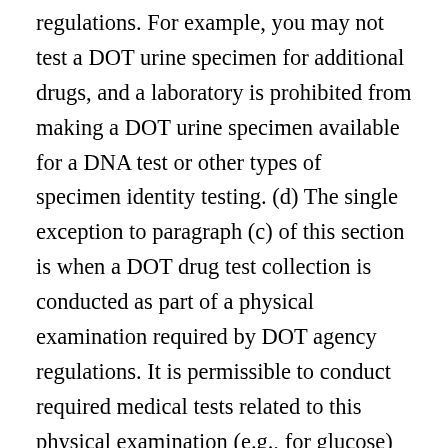regulations. For example, you may not test a DOT urine specimen for additional drugs, and a laboratory is prohibited from making a DOT urine specimen available for a DNA test or other types of specimen identity testing. (d) The single exception to paragraph (c) of this section is when a DOT drug test collection is conducted as part of a physical examination required by DOT agency regulations. It is permissible to conduct required medical tests related to this physical examination (e.g., for glucose) on any urine remaining in the collection container after the drug test urine specimens have been sealed into the specimen bottles. (e) No one is permitted to change or disregard the results of DOT tests based on the results of non-DOT tests. For example, as an